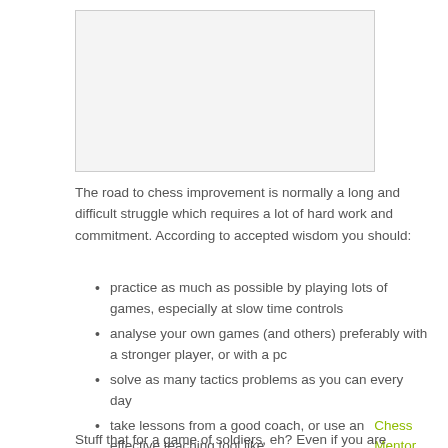[Figure (other): Light gray placeholder image box with a border]
The road to chess improvement is normally a long and difficult struggle which requires a lot of hard work and commitment. According to accepted wisdom you should:
practice as much as possible by playing lots of games, especially at slow time controls
analyse your own games (and others) preferably with a stronger player, or with a pc
solve as many tactics problems as you can every day
take lessons from a good coach, or use an effective teaching tool like Chess Mentor
Stuff that for a game of soldiers, eh? Even if you are